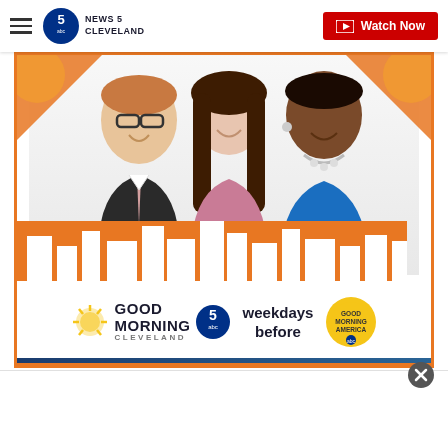News 5 Cleveland | Watch Now
[Figure (photo): Promotional banner for Good Morning Cleveland on News 5 ABC. Three news anchors (man in dark suit with striped tie and glasses, woman in pink top with long brown hair, woman in blue top with short hair and necklace) posed in front of a city skyline graphic with orange accents. Bottom shows 'Good Morning Cleveland' logo with '5 abc', text 'weekdays before', and Good Morning America logo.]
[Figure (photo): White advertisement area below the promo banner]